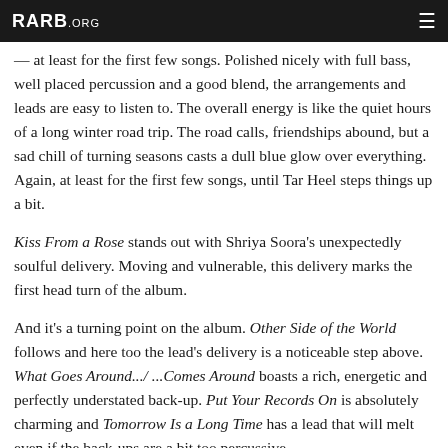RARB.ORG
— at least for the first few songs. Polished nicely with full bass, well placed percussion and a good blend, the arrangements and leads are easy to listen to. The overall energy is like the quiet hours of a long winter road trip. The road calls, friendships abound, but a sad chill of turning seasons casts a dull blue glow over everything. Again, at least for the first few songs, until Tar Heel steps things up a bit.
Kiss From a Rose stands out with Shriya Soora's unexpectedly soulful delivery. Moving and vulnerable, this delivery marks the first head turn of the album.
And it's a turning point on the album. Other Side of the World follows and here too the lead's delivery is a noticeable step above. What Goes Around.../ ...Comes Around boasts a rich, energetic and perfectly understated back-up. Put Your Records On is absolutely charming and Tomorrow Is a Long Time has a lead that will melt even if the back-ups are a bit too percussive